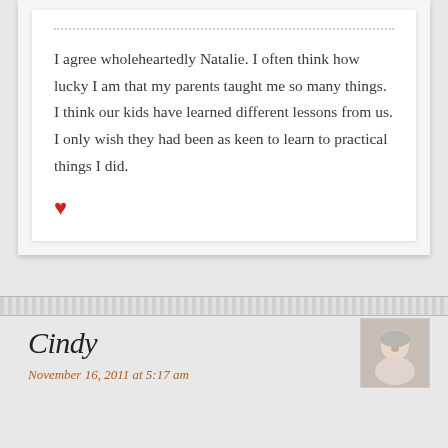I agree wholeheartedly Natalie. I often think how lucky I am that my parents taught me so many things. I think our kids have learned different lessons from us. I only wish they had been as keen to learn to practical things I did.
♥
Cindy
November 16, 2011 at 5:17 am
[Figure (photo): Small portrait photo of a smiling older woman with short gray/white hair]